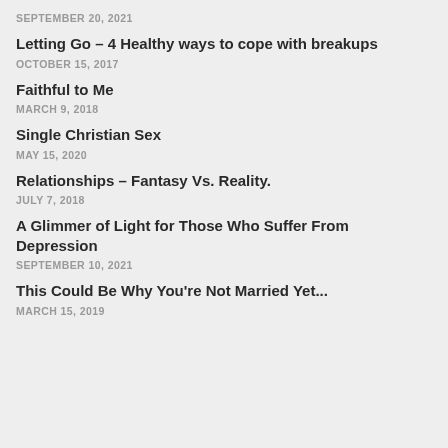SEPTEMBER 20, 2021
Letting Go – 4 Healthy ways to cope with breakups
OCTOBER 15, 2017
Faithful to Me
MARCH 9, 2018
Single Christian Sex
MAY 15, 2020
Relationships – Fantasy Vs. Reality.
JULY 7, 2018
A Glimmer of Light for Those Who Suffer From Depression
SEPTEMBER 10, 2021
This Could Be Why You're Not Married Yet...
MARCH 15, 2019